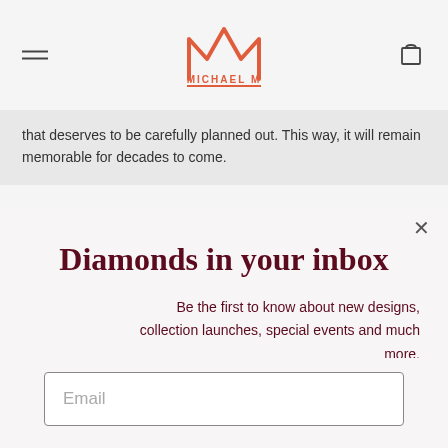[Figure (logo): Michael M jewelry brand logo: a stylized crown-like 'MM' mark in coral/orange with 'MICHAEL M' text beneath, underlined in coral]
that deserves to be carefully planned out. This way, it will remain memorable for decades to come.
Diamonds in your inbox
Be the first to know about new designs, collection launches, special events and much more.
Email